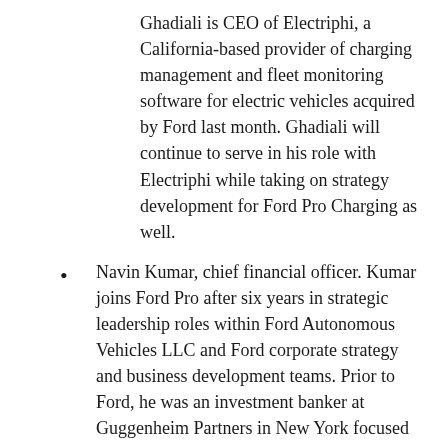Ghadiali is CEO of Electriphi, a California-based provider of charging management and fleet monitoring software for electric vehicles acquired by Ford last month. Ghadiali will continue to serve in his role with Electriphi while taking on strategy development for Ford Pro Charging as well.
Navin Kumar, chief financial officer. Kumar joins Ford Pro after six years in strategic leadership roles within Ford Autonomous Vehicles LLC and Ford corporate strategy and business development teams. Prior to Ford, he was an investment banker at Guggenheim Partners in New York focused on automotive and technology mergers and acquisitions.
Tracey Pass, chief human resources officer. Pass will lead a team focused on building a